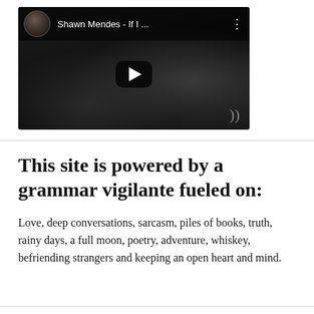[Figure (screenshot): YouTube video thumbnail showing a dark, moody video player with Shawn Mendes - If I ... as the title, a circular avatar in the top-left, a YouTube play button in the center, and a three-dot menu icon in the top-right.]
This site is powered by a grammar vigilante fueled on:
Love, deep conversations, sarcasm, piles of books, truth, rainy days, a full moon, poetry, adventure, whiskey, befriending strangers and keeping an open heart and mind.